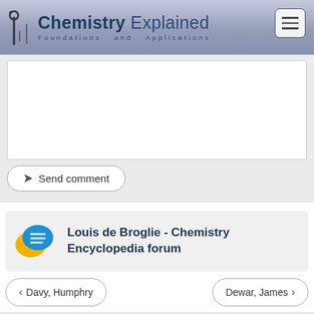Chemistry Explained Foundations and Applications
[Figure (screenshot): Text area input box for comment submission]
Send comment
Louis de Broglie - Chemistry Encyclopedia forum
< Davy, Humphry
Dewar, James >
Terms & Privacy • © 2022 Advameg, Inc.